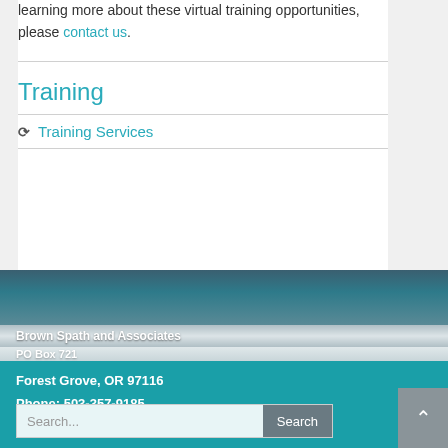learning more about these virtual training opportunities, please contact us.
Training
Training Services
Brown Spath and Associates
PO Box 721
Forest Grove, OR 97116
Phone: 503-357-9185